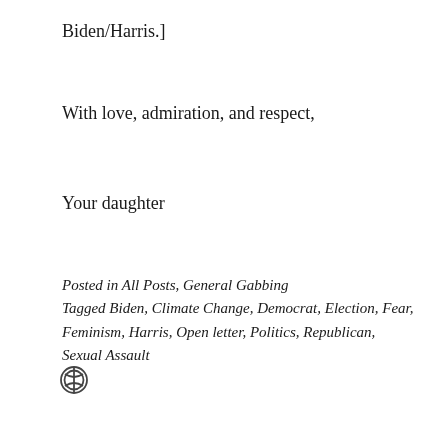Biden/Harris.]
With love, admiration, and respect,
Your daughter
Posted in All Posts, General Gabbing
Tagged Biden, Climate Change, Democrat, Election, Fear, Feminism, Harris, Open letter, Politics, Republican, Sexual Assault
[Figure (logo): WordPress logo icon]